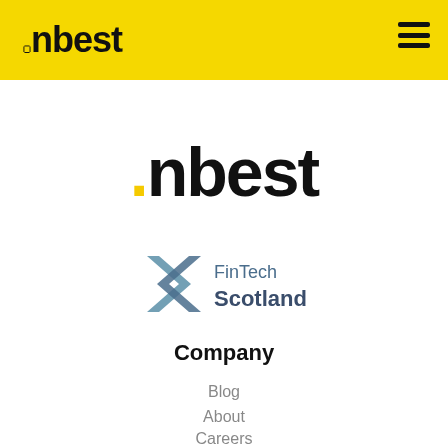.nbest
[Figure (logo): .nbest main logo centered on white background with yellow dot]
[Figure (logo): FinTech Scotland logo with two chevron arrows and text FinTech Scotland]
Company
Blog
About
Careers